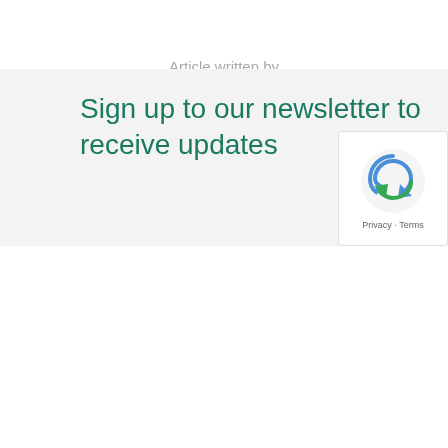Article written by
Simon James
← BACK TO NEWS & INSIGHT
[Figure (infographic): Four social media sharing icons in circles: Twitter (light blue), Facebook (dark blue), LinkedIn (dark navy blue), Email (green)]
Sign up to our newsletter to receive updates